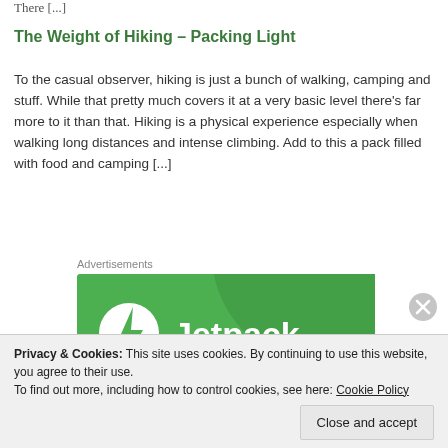There [...]
The Weight of Hiking – Packing Light
To the casual observer, hiking is just a bunch of walking, camping and stuff. While that pretty much covers it at a very basic level there's far more to it than that. Hiking is a physical experience especially when walking long distances and intense climbing. Add to this a pack filled with food and camping [...]
Advertisements
[Figure (logo): Jetpack advertisement banner with green background, Jetpack logo and wordmark in white]
Privacy & Cookies: This site uses cookies. By continuing to use this website, you agree to their use.
To find out more, including how to control cookies, see here: Cookie Policy
Close and accept